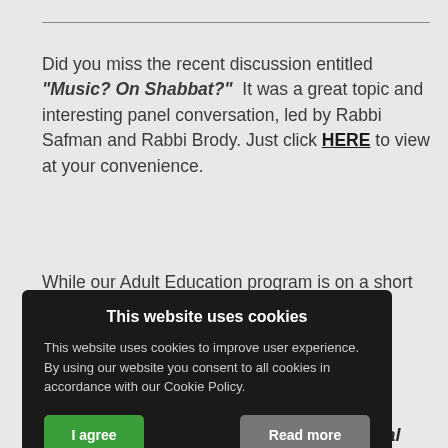Did you miss the recent discussion entitled "Music? On Shabbat?" It was a great topic and interesting panel conversation, led by Rabbi Safman and Rabbi Brody. Just click HERE to view at your convenience.
While our Adult Education program is on a short break for the summer season, there [are still opportunities] for you [to brow]se our [library. Click] HERE to [explore DNA] [collections and] [get involved] in
Halacha: How Jewish and American Legal
This website uses cookies
This website uses cookies to improve user experience. By using our website you consent to all cookies in accordance with our Cookie Policy.